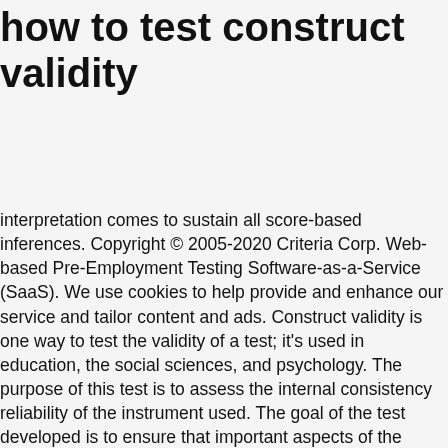how to test construct validity
interpretation comes to sustain all score-based inferences. Copyright © 2005-2020 Criteria Corp. Web-based Pre-Employment Testing Software-as-a-Service (SaaS). We use cookies to help provide and enhance our service and tailor content and ads. Construct validity is one way to test the validity of a test; it's used in education, the social sciences, and psychology. The purpose of this test is to assess the internal consistency reliability of the instrument used. The goal of the test developed is to ensure that important aspects of the construct domain are covered. To refer to validity as a unified concept does not imply that validity cannot be usefully differentiated into distinct aspects, such as the social consequences of performance assessments or the role of score meaning. Alternatively, a cause can be misspecified when the treatment is implemented with less strength or integrity than intended. Construct validity refers to how well a test or tool measures the construct that it was designed to measure. This view was confirmed in laboratory animals, in which it was shown that deletion of one specific gene leads to an increase or decrease in cocaine-using behavior and/or